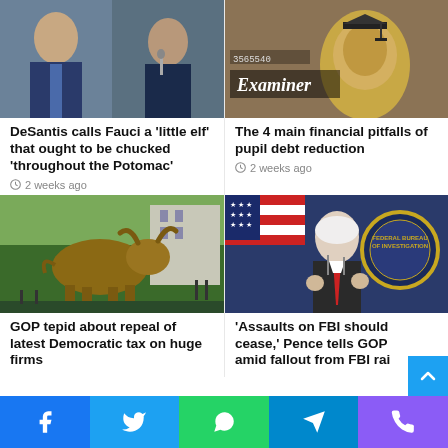[Figure (photo): Photo of DeSantis and Fauci at hearings]
DeSantis calls Fauci a 'little elf' that ought to be chucked 'throughout the Potomac'
2 weeks ago
[Figure (photo): Photo of dollar bill with graduation cap and Examiner logo]
The 4 main financial pitfalls of pupil debt reduction
2 weeks ago
[Figure (photo): Photo of Charging Bull statue on Wall Street]
GOP tepid about repeal of latest Democratic tax on huge firms
[Figure (photo): Photo of Mike Pence speaking at podium with FBI seal in background]
'Assaults on FBI should cease,' Pence tells GOP amid fallout from FBI rai